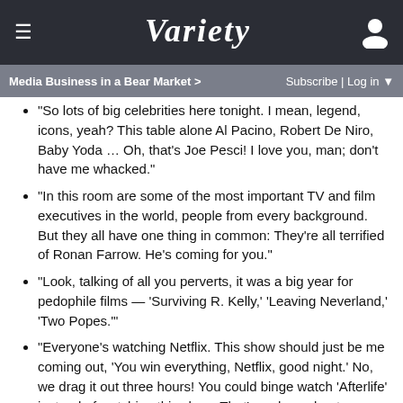VARIETY
Media Business in a Bear Market > Subscribe | Log in
“So lots of big celebrities here tonight. I mean, legend, icons, yeah? This table alone Al Pacino, Robert De Niro, Baby Yoda … Oh, that’s Joe Pesci! I love you, man; don’t have me whacked.”
“In this room are some of the most important TV and film executives in the world, people from every background. But they all have one thing in common: They’re all terrified of Ronan Farrow. He’s coming for you.”
“Look, talking of all you perverts, it was a big year for pedophile films — ‘Surviving R. Kelly,’ ‘Leaving Neverland,’ ‘Two Popes.’”
“Everyone’s watching Netflix. This show should just be me coming out, ‘You win everything, Netflix, good night.’ No, we drag it out three hours! You could binge watch ‘Afterlife’ instead of watching this show. That’s a show about a man who wants to kill himself because his wife